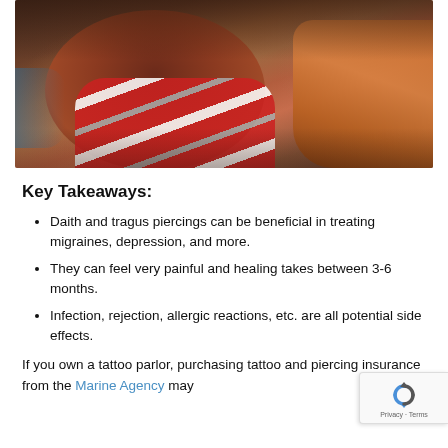[Figure (photo): A person with long reddish-brown hair wearing a red and white striped garment and an orange jacket, photographed from a close angle.]
Key Takeaways:
Daith and tragus piercings can be beneficial in treating migraines, depression, and more.
They can feel very painful and healing takes between 3-6 months.
Infection, rejection, allergic reactions, etc. are all potential side effects.
If you own a tattoo parlor, purchasing tattoo and piercing insurance from the Marine Agency may...